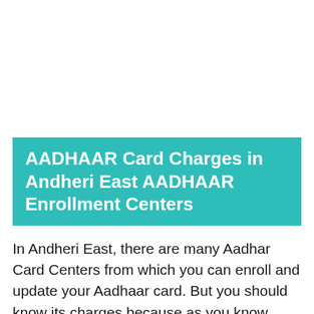AADHAAR Card Charges in Andheri East AADHAAR Enrollment Centers
In Andheri East, there are many Aadhar Card Centers from which you can enroll and update your Aadhaar card. But you should know its charges because as you know Aadhaar making is free of cost.
Charges of Aadhaar set by UIDAI